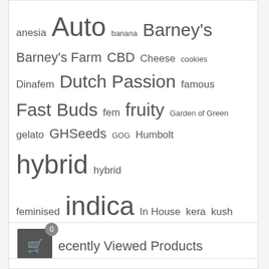[Figure (infographic): Tag cloud containing seed/cannabis product category tags in various font sizes indicating frequency: anesia, Auto, banana, Barney's, Barney's Farm, CBD, Cheese, cookies, Dinafem, Dutch Passion, famous, Fast Buds, fem, fruity, Garden of Green, gelato, GHSeeds, GOG, Humbolt, hybrid, hybrid feminised, indica, In House, kera, kush, Lemon, Motherland, Nirvana, OG, paper, Paradise Seeds, Purple, Reg, ripper, rolling paper, Royal Queen, RQS, Sativa, Seed Stockers, Sensi, strawberry, sweet, sweet seeds, TH Seeds, White Widow]
Recently Viewed Products